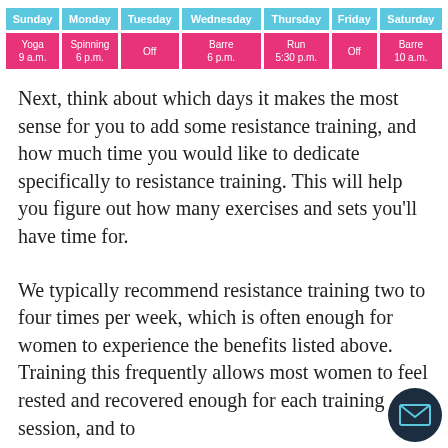| Sunday | Monday | Tuesday | Wednesday | Thursday | Friday | Saturday |
| --- | --- | --- | --- | --- | --- | --- |
| Yoga
9 a.m. | Spinning
6 p.m. | Off | Barre
6 p.m. | Run
5:30 p.m. | Off | Barre
10 a.m. |
Next, think about which days it makes the most sense for you to add some resistance training, and how much time you would like to dedicate specifically to resistance training. This will help you figure out how many exercises and sets you'll have time for.
We typically recommend resistance training two to four times per week, which is often enough for women to experience the benefits listed above. Training this frequently allows most women to feel rested and recovered enough for each training session, and to